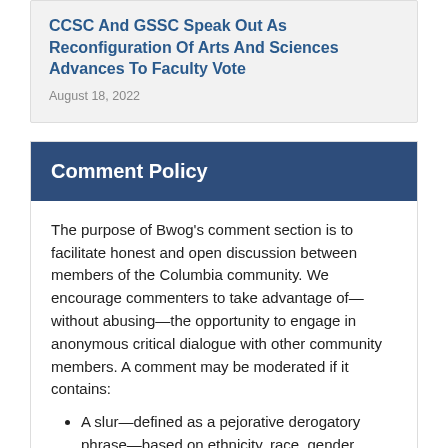CCSC And GSSC Speak Out As Reconfiguration Of Arts And Sciences Advances To Faculty Vote
August 18, 2022
Comment Policy
The purpose of Bwog’s comment section is to facilitate honest and open discussion between members of the Columbia community. We encourage commenters to take advantage of—without abusing—the opportunity to engage in anonymous critical dialogue with other community members. A comment may be moderated if it contains:
A slur—defined as a pejorative derogatory phrase—based on ethnicity, race, gender, sexual orientation, ability, or spiritual belief
Hate speech
Unauthorized use of a person’s identity